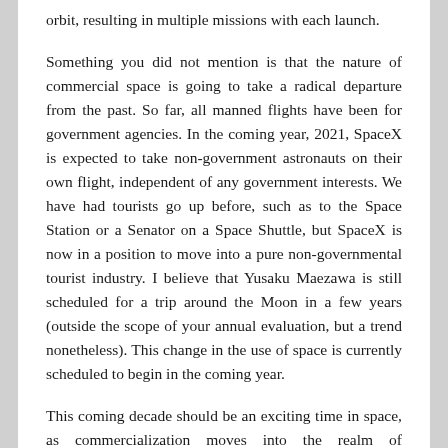orbit, resulting in multiple missions with each launch.
Something you did not mention is that the nature of commercial space is going to take a radical departure from the past. So far, all manned flights have been for government agencies. In the coming year, 2021, SpaceX is expected to take non-government astronauts on their own flight, independent of any government interests. We have had tourists go up before, such as to the Space Station or a Senator on a Space Shuttle, but SpaceX is now in a position to move into a pure non-governmental tourist industry. I believe that Yusaku Maezawa is still scheduled for a trip around the Moon in a few years (outside the scope of your annual evaluation, but a trend nonetheless). This change in the use of space is currently scheduled to begin in the coming year.
This coming decade should be an exciting time in space, as commercialization moves into the realm of exploration in addition to the traditional communications industry and the new commercial launch industry. Commercial space